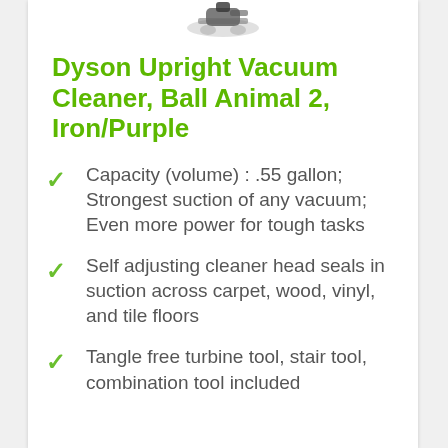[Figure (photo): Partial image of Dyson vacuum cleaner at top of card]
Dyson Upright Vacuum Cleaner, Ball Animal 2, Iron/Purple
Capacity (volume) : .55 gallon; Strongest suction of any vacuum; Even more power for tough tasks
Self adjusting cleaner head seals in suction across carpet, wood, vinyl, and tile floors
Tangle free turbine tool, stair tool, combination tool included